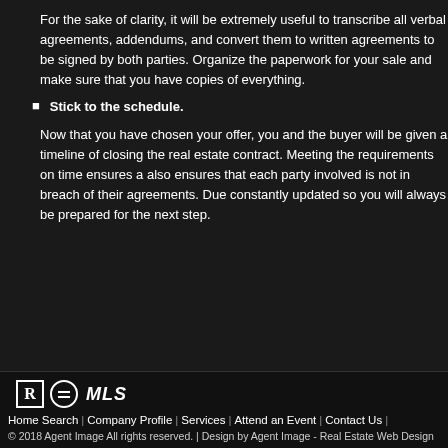For the sake of clarity, it will be extremely useful to transcribe all verbal agreements, addendums, and convert them to written agreements to be signed by both parties. Organize the paperwork for your sale and make sure that you have copies of everything.
Stick to the schedule.
Now that you have chosen your offer, you and the buyer will be given a timeline for the closing of closing the real estate contract. Meeting the requirements on time ensures a smooth close and also ensures that each party involved is not in breach of their agreements. Due dates will be constantly updated so you will always be prepared for the next step.
Home Search | Company Profile | Services | Attend an Event | Contact Us | © 2018 Agent Image All rights reserved. | Design by Agent Image - Real Estate Web Design